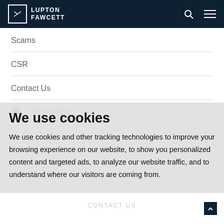Lupton Fawcett
Scams
CSR
Contact Us
Leeds office
We use cookies
We use cookies and other tracking technologies to improve your browsing experience on our website, to show you personalized content and targeted ads, to analyze our website traffic, and to understand where our visitors are coming from.